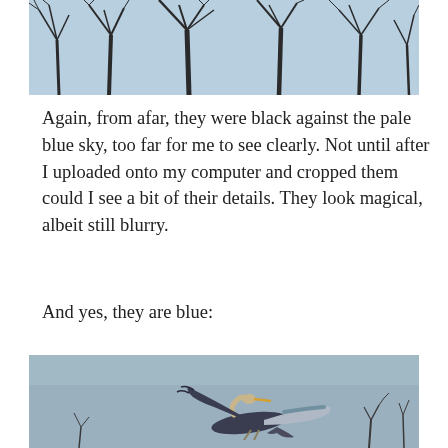[Figure (photo): Bare tree branches silhouetted against a pale blue sky]
Again, from afar, they were black against the pale blue sky, too far for me to see clearly. Not until after I uploaded onto my computer and cropped them could I see a bit of their details. They look magical, albeit still blurry.
And yes, they are blue:
[Figure (photo): A great blue heron in flight against a grey-blue sky, with bare branches visible at the bottom]